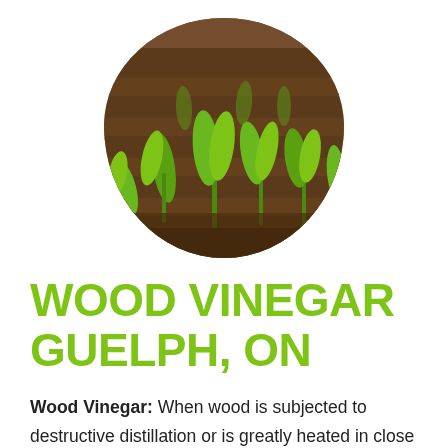[Figure (photo): Circular crop photo showing young green seedling plants growing in rows in dark brown soil, viewed from close up.]
WOOD VINEGAR GUELPH, ON
Wood Vinegar: When wood is subjected to destructive distillation or is greatly heated in close vessels, an acid liquor oozes over with the tar and gaseous products. This acid liquor is the